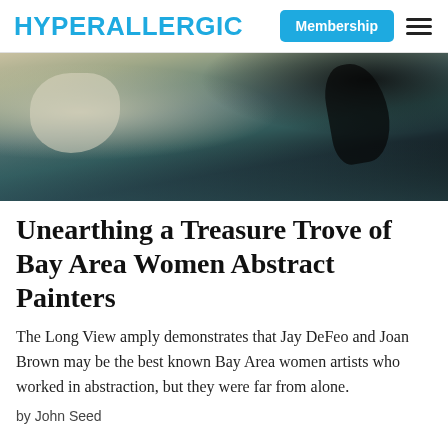HYPERALLERGIC
[Figure (photo): Close-up of an abstract painting with muted tones of grey, teal, and black brushstrokes, showing textured paint and abstract shapes.]
Unearthing a Treasure Trove of Bay Area Women Abstract Painters
The Long View amply demonstrates that Jay DeFeo and Joan Brown may be the best known Bay Area women artists who worked in abstraction, but they were far from alone.
by John Seed
Tagged: Articles colonialism Documentary Japan Japan Society sex work